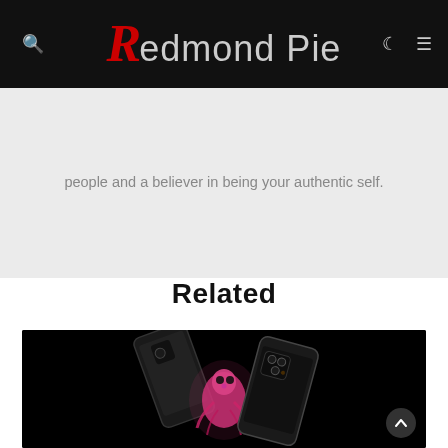Redmond Pie
people and a believer in being your authentic self.
Related
[Figure (photo): Dark promotional photo showing two iPhones with a glowing pink/magenta creature or character between them, photographed against a black background.]